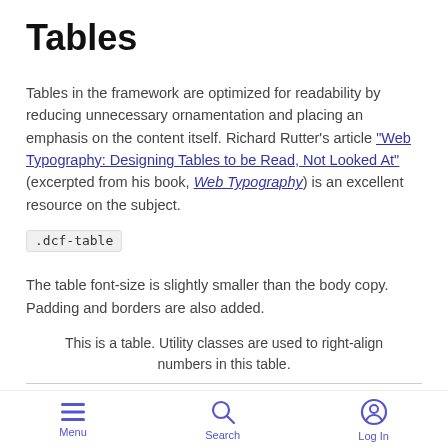Tables
Tables in the framework are optimized for readability by reducing unnecessary ornamentation and placing an emphasis on the content itself. Richard Rutter's article "Web Typography: Designing Tables to be Read, Not Looked At" (excerpted from his book, Web Typography) is an excellent resource on the subject.
.dcf-table
The table font-size is slightly smaller than the body copy. Padding and borders are also added.
This is a table. Utility classes are used to right-align numbers in this table.
| Table | Table |
| --- | --- |